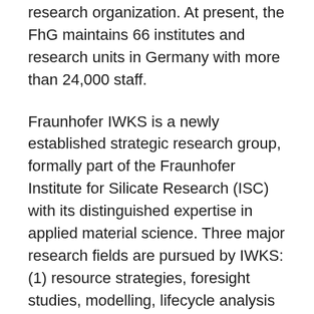research organization. At present, the FhG maintains 66 institutes and research units in Germany with more than 24,000 staff.
Fraunhofer IWKS is a newly established strategic research group, formally part of the Fraunhofer Institute for Silicate Research (ISC) with its distinguished expertise in applied material science. Three major research fields are pursued by IWKS: (1) resource strategies, foresight studies, modelling, lifecycle analysis (LCAs) (2) recycling technologies, and (3) substitution for/of critical materials.
With respect to economic feasibility and environmental aspects the Fraunhofer IWKS develops intelligent, cost- and